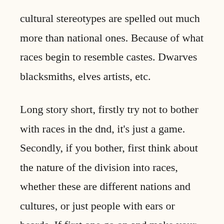cultural stereotypes are spelled out much more than national ones. Because of what races begin to resemble castes. Dwarves blacksmiths, elves artists, etc.
Long story short, firstly try not to bother with races in the dnd, it’s just a game. Secondly, if you bother, first think about the nature of the division into races, whether these are different nations and cultures, or just people with ears or beards. If first one go on and make your own mongolian orks (I hope they want to create pax